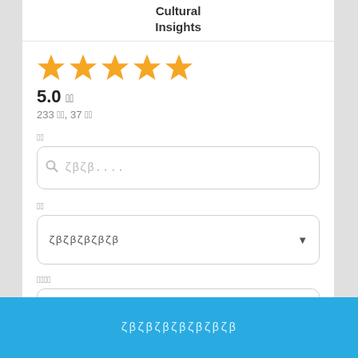Cultural Insights
[Figure (other): Five gold/yellow star rating icons displayed in a row]
5.0 (rating icon)
233 ratings, 37 reviews
Search field label (Korean/placeholder text)
Search input placeholder with zigzag placeholder text
Dropdown field label (Korean/placeholder text)
Dropdown with zigzag placeholder text
Second dropdown field label (Korean/placeholder text)
Second dropdown with zigzag placeholder text
Button with zigzag placeholder text